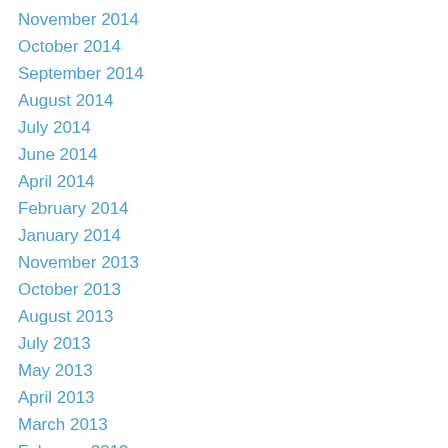November 2014
October 2014
September 2014
August 2014
July 2014
June 2014
April 2014
February 2014
January 2014
November 2013
October 2013
August 2013
July 2013
May 2013
April 2013
March 2013
February 2013
January 2013
December 2012
November 2012